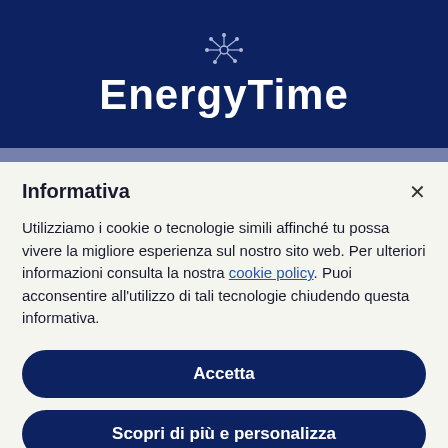[Figure (logo): EnergyTime logo on dark blue background with abstract neural/energy icon above the text]
Informativa
Utilizziamo i cookie o tecnologie simili affinché tu possa vivere la migliore esperienza sul nostro sito web. Per ulteriori informazioni consulta la nostra cookie policy. Puoi acconsentire all'utilizzo di tali tecnologie chiudendo questa informativa.
Accetta
Scopri di più e personalizza